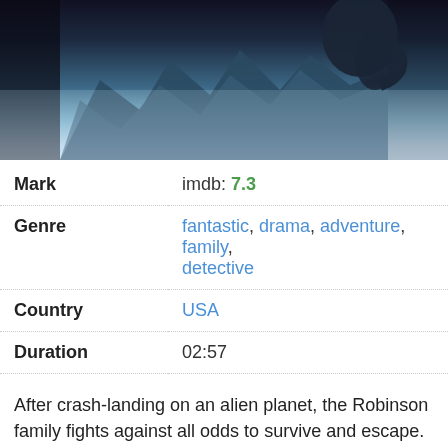[Figure (photo): Movie poster showing a child's profile silhouette against a misty alien mountain landscape with blue-grey tones]
| Mark | imdb: 7.3 |
| Genre | fantastic, drama, adventure, family, detective |
| Country | USA |
| Duration | 02:57 |
After crash-landing on an alien planet, the Robinson family fights against all odds to survive and escape. But they're surrounded by hidden dangers.
Similar | Dissimilar